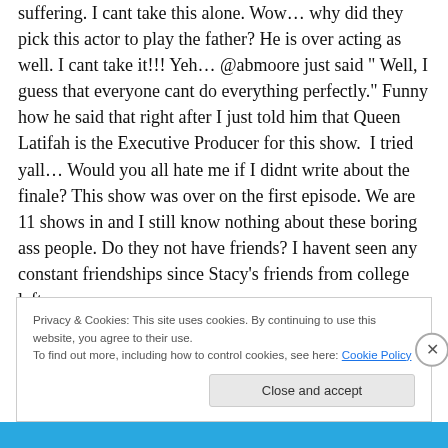suffering. I cant take this alone. Wow… why did they pick this actor to play the father? He is over acting as well. I cant take it!!! Yeh… @abmoore just said " Well, I guess that everyone cant do everything perfectly." Funny how he said that right after I just told him that Queen Latifah is the Executive Producer for this show.  I tried yall… Would you all hate me if I didnt write about the finale? This show was over on the first episode. We are 11 shows in and I still know nothing about these boring ass people. Do they not have friends? I havent seen any constant friendships since Stacy's friends from college left.
Privacy & Cookies: This site uses cookies. By continuing to use this website, you agree to their use.
To find out more, including how to control cookies, see here: Cookie Policy